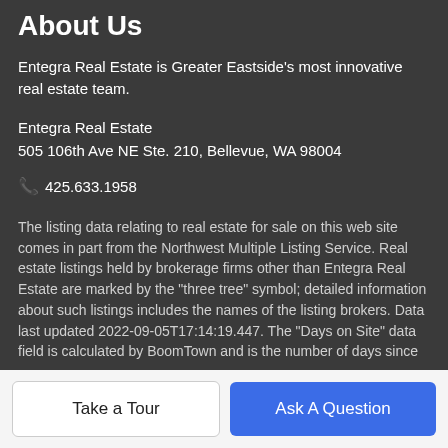About Us
Entegra Real Estate is Greater Eastside's most innovative real estate team.
Entegra Real Estate
505 106th Ave NE Ste. 210, Bellevue, WA 98004
📞 425.633.1958
The listing data relating to real estate for sale on this web site comes in part from the Northwest Multiple Listing Service. Real estate listings held by brokerage firms other than Entegra Real Estate are marked by the "three tree" symbol; detailed information about such listings includes the names of the listing brokers. Data last updated 2022-09-05T17:14:19.447. The "Days on Site" data field is calculated by BoomTown and is the number of days since
Take a Tour
Ask A Question